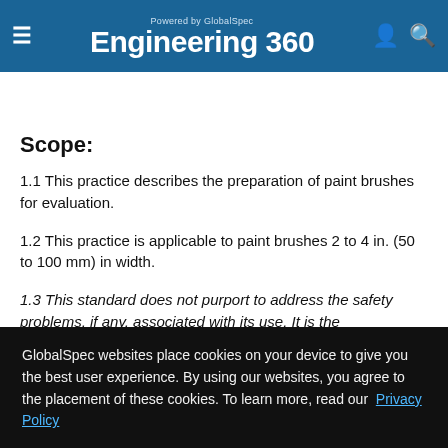Powered by GlobalSpec — Engineering 360
Register or Log in for direct access to additional content | Supplier Menu
Scope:
1.1 This practice describes the preparation of paint brushes for evaluation.
1.2 This practice is applicable to paint brushes 2 to 4 in. (50 to 100 mm) in width.
1.3 This standard does not purport to address the safety problems, if any, associated with its use. It is the responsibility of the user of this standard to establish appropriate safety and health practices and determine the applicability of regulatory
GlobalSpec websites place cookies on your device to give you the best user experience. By using our websites, you agree to the placement of these cookies. To learn more, read our Privacy Policy